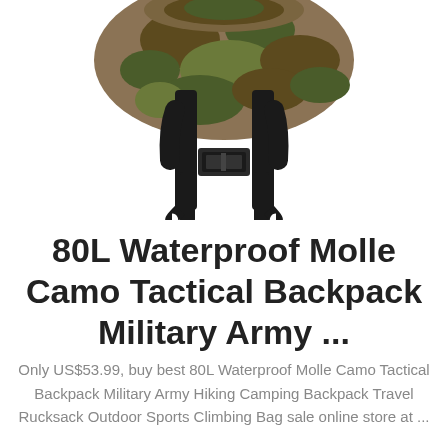[Figure (photo): Bottom portion of a camouflage military/tactical backpack showing black shoulder straps with buckle clip, on a white background.]
80L Waterproof Molle Camo Tactical Backpack Military Army ...
Only US$53.99, buy best 80L Waterproof Molle Camo Tactical Backpack Military Army Hiking Camping Backpack Travel Rucksack Outdoor Sports Climbing Bag sale online store at ...